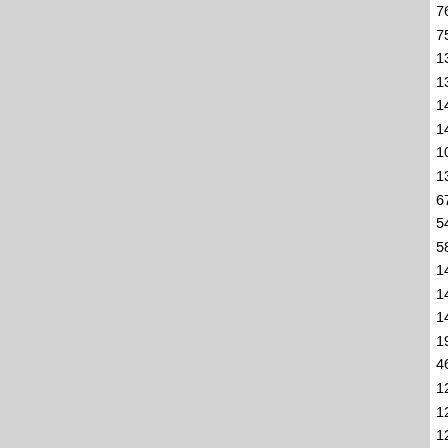| ID | Title |
| --- | --- |
| 7636 | Hughes Helicopters Service Pro… |
| 7595 | Hughes Helicopters TH-55A Op… |
| 13994 | Hughes OH-6A Aviation Unit An… |
| 13995 | Hughes OH-6A Aviation Unit An… |
| 14144 | Hughes OH-6A Maintenance Te… |
| 14143 | Hughes OH-6A Operator's And … |
| 1047 | Hughes OH-6A Operators Manu… |
| 13993 | Hughes TH-55A Operator's Ma… |
| 678 | Hunter F Mk. 2 Maintenance Ma… |
| 549 | Hunter F.R. Mk. 10 Pilot's Notes… |
| 586 | Hurricane IIA, IIB, IIC, IID, IV Pi… |
| 14050 | Hydraulic Actuating Cylinders -… |
| 14020 | Hydraulic Brake For 17.00-20 M… |
| 14048 | Hydraulic Pressure Accumulato… |
| 1981 | Hydraulic Pressure Relief Valve… |
| 4684 | Hydraulic Principles Instruction… |
| 12570 | Hydro-Aire Fuel Booster Pump… |
| 12569 | Hydro-Aire Fuel Booster Pump… |
| 12988 | Hydro-Aire Power Brake Contro… |
| 12986 | Hydro-Aire Power Brake Relay… |
| 12987 | Hydro-Aire Power Wheel Speed… |
| 12567 | Hydro-Aire Solenoid Valve Ove… |
| 12568 | Hydro-Aire Solenoid Valve Part… |
| 11593 | IFD Century 31 Transponder In… |
| 1904 | IFD GAR Ground Avoidance Ra… |